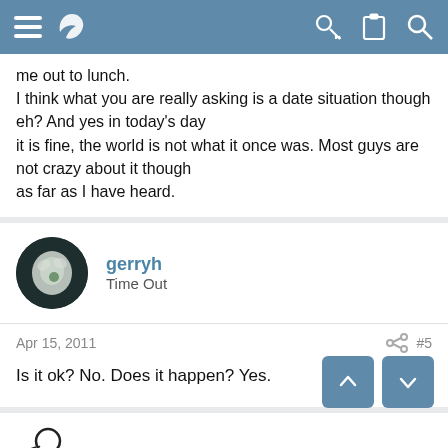Navigation bar with menu, logo, key, clipboard, and search icons
me out to lunch.
I think what you are really asking is a date situation though eh? And yes in today's day
it is fine, the world is not what it once was. Most guys are not crazy about it though
as far as I have heard.
gerryh
Time Out
Apr 15, 2011  #5
Is it ok? No. Does it happen? Yes.
Cannuck
Time Out
Apr 15, 2011